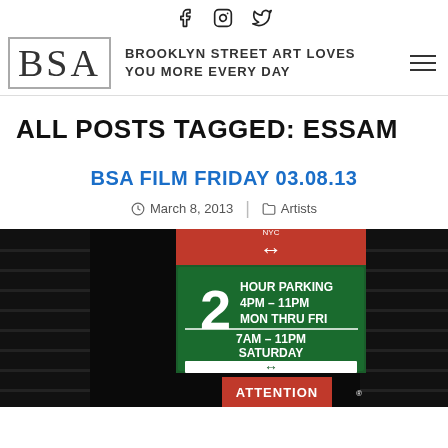BSA — BROOKLYN STREET ART LOVES YOU MORE EVERY DAY (with social icons: Facebook, Instagram, Twitter)
ALL POSTS TAGGED: ESSAM
BSA FILM FRIDAY 03.08.13
March 8, 2013 | Artists
[Figure (photo): Street parking sign at night showing: red arrow sign at top, 2 HOUR PARKING 4PM-11PM MON THRU FRI, 7AM-11PM SATURDAY with green arrows, and ATTENTION red sign at bottom.]